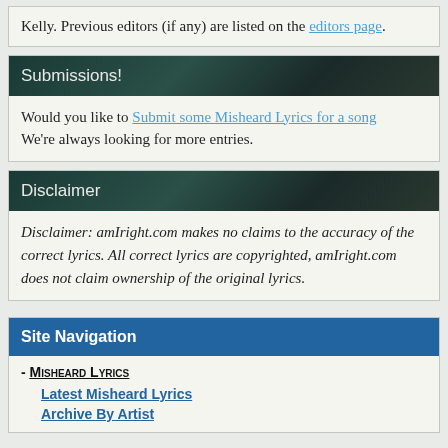Kelly. Previous editors (if any) are listed on the editors page.
Submissions!
Would you like to Submit some Misheard Lyrics for a song We're always looking for more entries.
Disclaimer
Disclaimer: amIright.com makes no claims to the accuracy of the correct lyrics. All correct lyrics are copyrighted, amIright.com does not claim ownership of the original lyrics.
Site Navigation
- Misheard Lyrics
Latest Misheard Lyrics
Archive By Artist